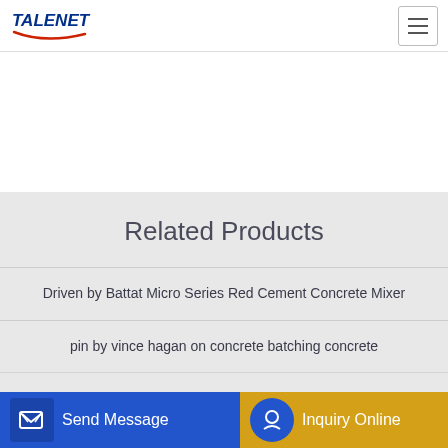TALENET
Related Products
Driven by Battat Micro Series Red Cement Concrete Mixer
pin by vince hagan on concrete batching concrete
6 Benefits Of Buying Several Concrete Mixer Trucks For Your
About A1 Concrete Pumping Wigan
Send Message | Inquiry Online